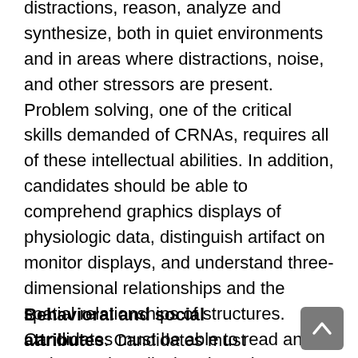distractions, reason, analyze and synthesize, both in quiet environments and in areas where distractions, noise, and other stressors are present. Problem solving, one of the critical skills demanded of CRNAs, requires all of these intellectual abilities. In addition, candidates should be able to comprehend graphics displays of physiologic data, distinguish artifact on monitor displays, and understand three-dimensional relationships and the spatial relationships of structures. Candidates must be able to read and understand medical and nursing literature. In order to complete the degree, candidates must be able to demonstrate mastery of these skills and the ability to use them together in a timely and often critical fashion in problem-solving and patient care.
Behavioral and social attributes: Candidates must possess the emotional health required for full